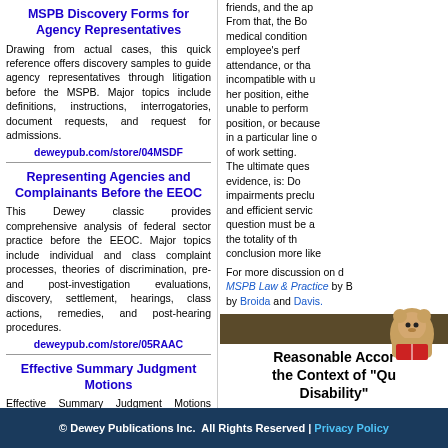MSPB Discovery Forms for Agency Representatives
Drawing from actual cases, this quick reference offers discovery samples to guide agency representatives through litigation before the MSPB. Major topics include definitions, instructions, interrogatories, document requests, and request for admissions.
deweypub.com/store/04MSDF
Representing Agencies and Complainants Before the EEOC
This Dewey classic provides comprehensive analysis of federal sector practice before the EEOC. Major topics include individual and class complaint processes, theories of discrimination, pre- and post-investigation evaluations, discovery, settlement, hearings, class actions, remedies, and post-hearing procedures.
deweypub.com/store/05RAAC
Effective Summary Judgment Motions
Effective Summary Judgment Motions offers a comprehensive analysis of EEO summary judgment case law along with practice tips and sample motions. Major topics include rules, regulations, and guidance; summary judgment standards; written motion papers; intentional discrimination cases; harassment cases; disability cases; reprisal cases; and religious accommodation cases.
friends, and the ap From that, the Board medical condition employee's perf attendance, or that incompatible with u her position, either unable to perform position, or because in a particular line of work setting. The ultimate question evidence, is: Do impairments preclu and efficient servic question must be a the totality of the conclusion more like
For more discussion on d MSPB Law & Practice by B by Broida and Davis.
Reasonable Accommodation in the Context of "Qualified Disability"
Johnson v. Board of Tru
Johnson, a te dist
[Figure (illustration): Cartoon mascot of a bear reading a red book]
© Dewey Publications Inc.  All Rights Reserved | Privacy Policy